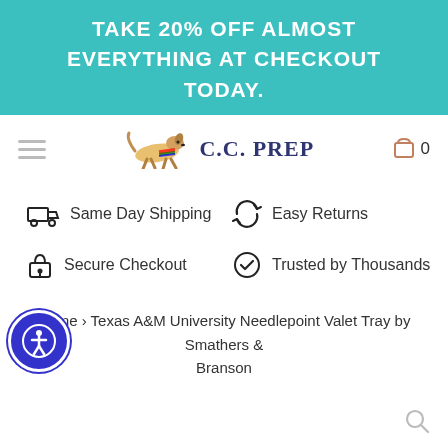TAKE 20% OFF ALMOST EVERYTHING AT CHECKOUT TODAY.
[Figure (logo): C.C. PREP logo with a running dog illustration and shopping cart icon showing 0 items]
Same Day Shipping
Easy Returns
Secure Checkout
Trusted by Thousands
Home › Texas A&M University Needlepoint Valet Tray by Smathers & Branson